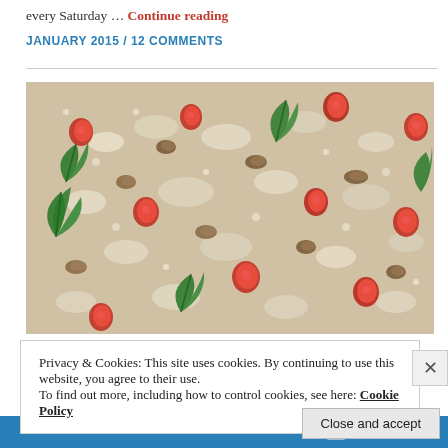every Saturday ... Continue reading
JANUARY 2015 / 12 COMMENTS
[Figure (photo): Close-up photograph of a grain salad featuring quinoa, pomegranate seeds, chopped walnuts, and fresh parsley leaves.]
Privacy & Cookies: This site uses cookies. By continuing to use this website, you agree to their use.
To find out more, including how to control cookies, see here: Cookie Policy
Close and accept
Follow ...